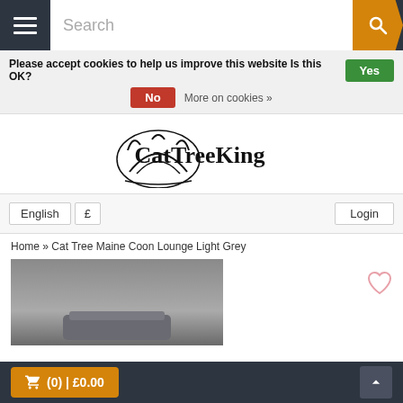Search
Please accept cookies to help us improve this website Is this OK? Yes No More on cookies »
[Figure (logo): CatTreeKing logo with stylized crown/cat icon and text 'CatTreeKing']
English £ Login
Home » Cat Tree Maine Coon Lounge Light Grey
[Figure (photo): Product photo of a cat tree in light grey, partially visible, on grey background]
🛒 (0) | £0.00